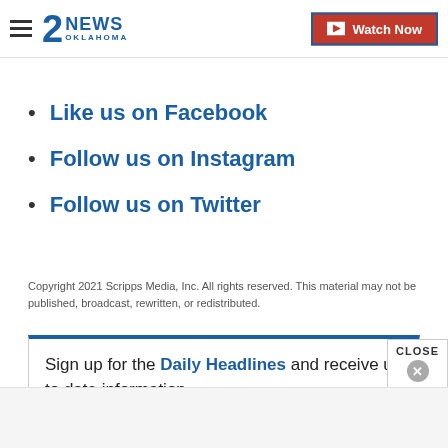2NEWS Oklahoma | Watch Now
Like us on Facebook
Follow us on Instagram
Follow us on Twitter
Copyright 2021 Scripps Media, Inc. All rights reserved. This material may not be published, broadcast, rewritten, or redistributed.
Sign up for the Daily Headlines and receive up to date information.
E-mail